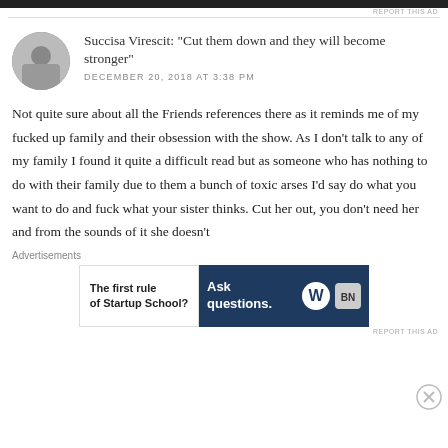[Figure (other): Dark advertisement bar at top of page]
REPORT THIS AD
Succisa Virescit: "Cut them down and they will become stronger"
DECEMBER 20, 2018 AT 3:38 PM
Not quite sure about all the Friends references there as it reminds me of my fucked up family and their obsession with the show. As I don't talk to any of my family I found it quite a difficult read but as someone who has nothing to do with their family due to them a bunch of toxic arses I'd say do what you want to do and fuck what your sister thinks. Cut her out, you don't need her and from the sounds of it she doesn't
Advertisements
[Figure (other): Advertisement banner: 'The first rule of Startup School?' on left, 'Ask questions.' with WordPress logo on right dark blue background]
REPORT THIS AD